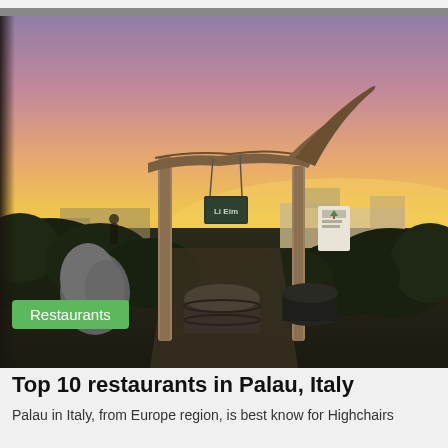[Figure (photo): Outdoor restaurant entrance at dusk/sunset with a rustic wooden archway holding a small hanging sign, rocks, barrels, and lush vegetation. Sky is pink, purple, and golden yellow. A white signboard is visible in the background on the right.]
Restaurants
Top 10 restaurants in Palau, Italy
Palau in Italy, from Europe region, is best know for Highchairs